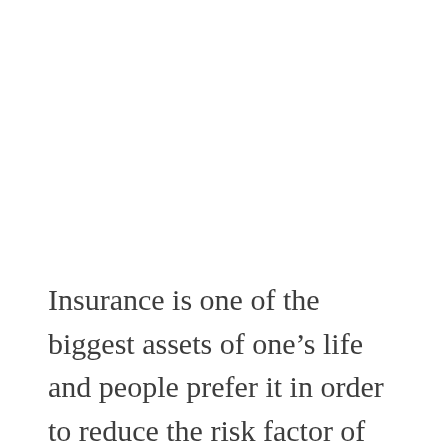Insurance is one of the biggest assets of one's life and people prefer it in order to reduce the risk factor of life. Life is all about uncertainties, and we